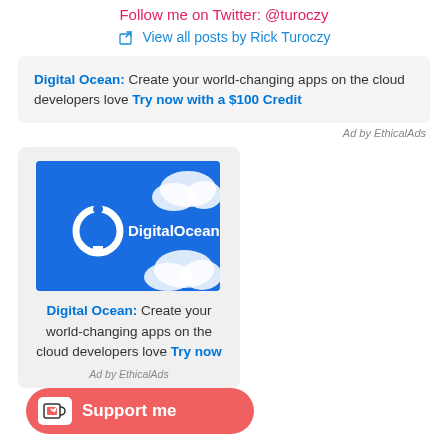Follow me on Twitter: @turoczy
View all posts by Rick Turoczy
Digital Ocean: Create your world-changing apps on the cloud developers love Try now with a $100 Credit
Ad by EthicalAds
[Figure (logo): DigitalOcean logo on blue background with white clouds]
Digital Ocean: Create your world-changing apps on the cloud developers love Try now
Ad by EthicalAds